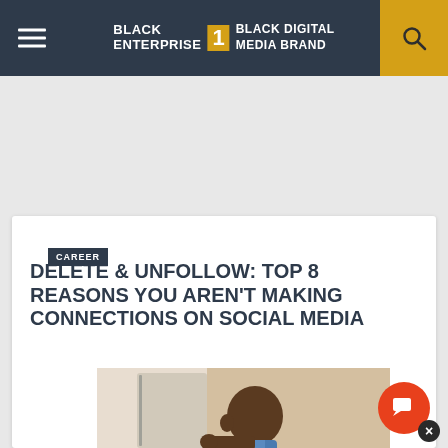BLACK ENTERPRISE THE #1 BLACK DIGITAL MEDIA BRAND
CAREER
DELETE & UNFOLLOW: TOP 8 REASONS YOU AREN'T MAKING CONNECTIONS ON SOCIAL MEDIA
[Figure (photo): Man holding his hand to his head in frustration, sitting in what appears to be a vehicle]